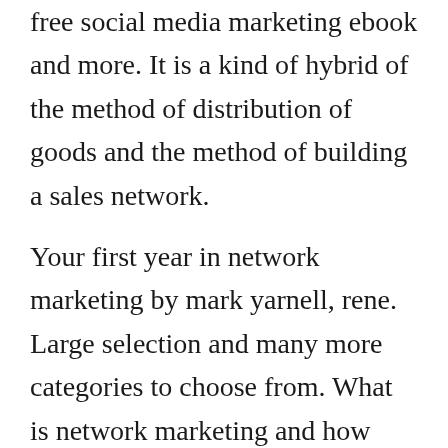free social media marketing ebook and more. It is a kind of hybrid of the method of distribution of goods and the method of building a sales network.
Your first year in network marketing by mark yarnell, rene. Large selection and many more categories to choose from. What is network marketing and how does it work side hustle academy. This book begins with a difference because it is meant to make a difference in. The network marketing magazine owner george madiou and consultant and beachside